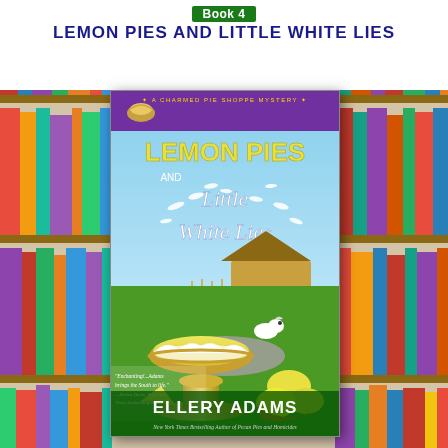Book 4
LEMON PIES AND LITTLE WHITE LIES
[Figure (illustration): Book cover for 'Lemon Pies and Little White Lies' by Ellery Adams, Book 4 in A Charmed Pie Shoppe Mystery series. Shows a lemon meringue pie on a pedestal in a garden with white doves, lemons, a dog, and a thatched cottage in the background. Blurb: 'Enchanting!...Adams brings the South to life.' —Krista Davis, New York Times bestselling author. Author byline: Ellery Adams, New York Times Bestselling Author of Pecan Pies and Homicides.]